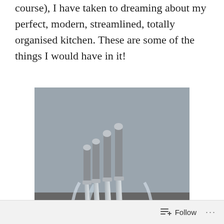course), I have taken to dreaming about my perfect, modern, streamlined, totally organised kitchen. These are some of the things I would have in it!
[Figure (photo): A set of modern kitchen knives with grey handles and stainless steel blades arranged in a clear acrylic knife block holder, photographed against a grey and dark background.]
Follow ...